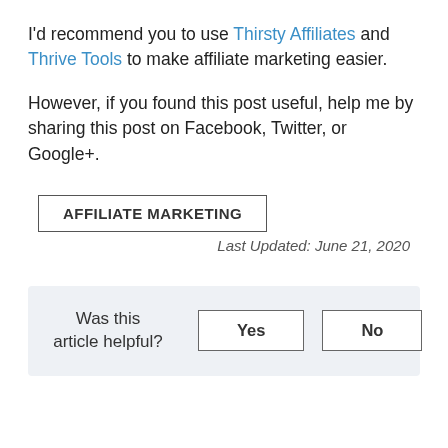I'd recommend you to use Thirsty Affiliates and Thrive Tools to make affiliate marketing easier.
However, if you found this post useful, help me by sharing this post on Facebook, Twitter, or Google+.
AFFILIATE MARKETING
Last Updated: June 21, 2020
Was this article helpful? Yes No